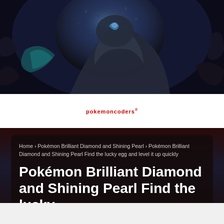[Figure (illustration): Dark fantasy artwork showing a large stone or rock-like creature/pokemon figure in a cave environment with blue and teal atmospheric lighting and falling debris]
[Figure (logo): Small red logo text reading 'pokemoncoders' with a superscript symbol, centered on a white bar]
Home › Pokémon Brilliant Diamond and Shining Pearl › Pokémon Brilliant Diamond and Shining Pearl Find the lucky egg and level it up quickly
Pokémon Brilliant Diamond and Shining Pearl Find the lucky